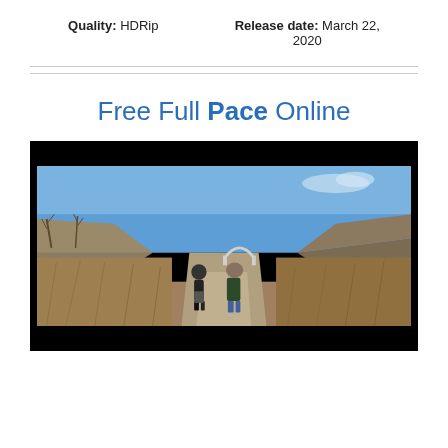Quality: HDRip
Release date: March 22, 2020
Free Full Pace Online
[Figure (photo): Two people jogging on a paved path through dry autumn grassland, with a bridge arch visible in the background under a clear blue sky. The image is framed with black letterbox bars on top and bottom.]